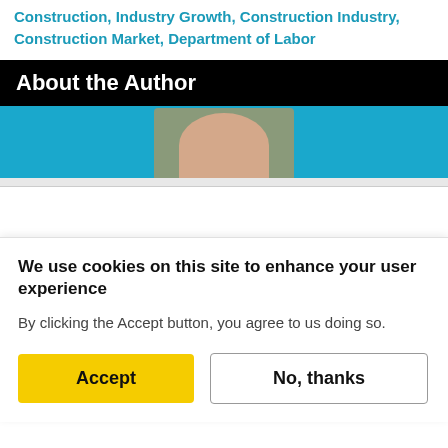Construction, Industry Growth, Construction Industry, Construction Market, Department of Labor
About the Author
[Figure (photo): Author photo banner with black header 'About the Author' and a partial headshot photo on a blue background]
We use cookies on this site to enhance your user experience
By clicking the Accept button, you agree to us doing so.
Accept | No, thanks